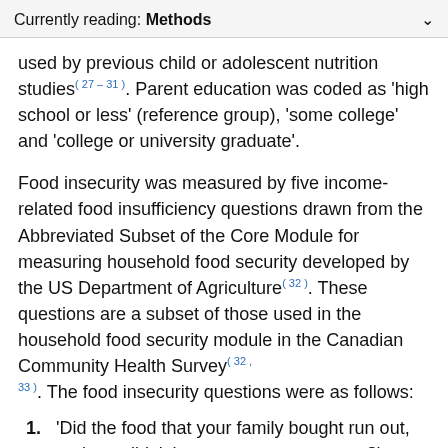Currently reading: Methods
used by previous child or adolescent nutrition studies(27–31). Parent education was coded as 'high school or less' (reference group), 'some college' and 'college or university graduate'.
Food insecurity was measured by five income-related food insufficiency questions drawn from the Abbreviated Subset of the Core Module for measuring household food security developed by the US Department of Agriculture(32). These questions are a subset of those used in the household food security module in the Canadian Community Health Survey(32, 33). The food insecurity questions were as follows:
'Did the food that your family bought run out, and you didn't have money to get more?'